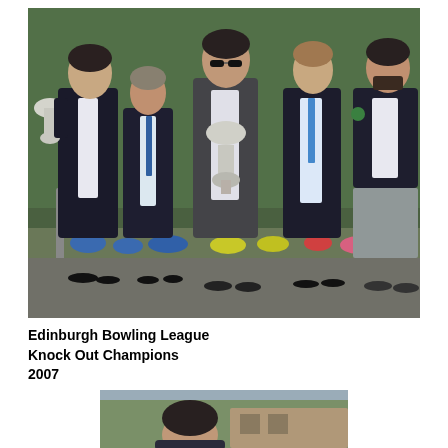[Figure (photo): Group photo of five men standing in front of a hedge/garden with flowers. The leftmost man holds a large silver trophy cup. The middle man holds a smaller trophy. Four of the men are wearing dark blazers; one wears a casual top. Some wear ties. They appear to be celebrating an Edinburgh Bowling League Knock Out Championship win in 2007.]
Edinburgh Bowling League Knock Out Champions 2007
[Figure (photo): Partial photo showing a person's head and shoulders with a building and trees visible in the background.]